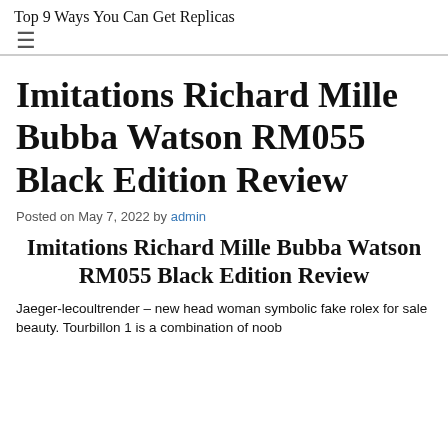Top 9 Ways You Can Get Replicas
Imitations Richard Mille Bubba Watson RM055 Black Edition Review
Posted on May 7, 2022 by admin
Imitations Richard Mille Bubba Watson RM055 Black Edition Review
Jaeger-lecoultrender – new head woman symbolic fake rolex for sale beauty. Tourbillon 1 is a combination of noob